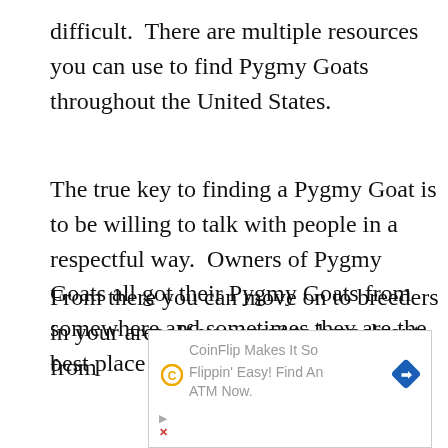difficult.  There are multiple resources you can use to find Pygmy Goats throughout the United States.
The true key to finding a Pygmy Goat is to be willing to talk with people in a respectful way.  Owners of Pygmy Goats all got their Pygmy Goats from somewhere and sometimes they are the best place to start.
From there you can move on to breeders in your area. If you want to branch out from
[Figure (other): Advertisement box for CoinFlip with text 'CoinFlip Makes It So Flippin' Easy! Find An ATM Now.' with a CoinFlip logo icon and a blue diamond arrow icon]